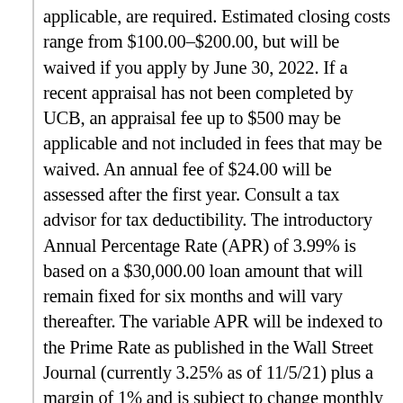Property, Title and Flood Insurance, if applicable, are required. Estimated closing costs range from $100.00–$200.00, but will be waived if you apply by June 30, 2022. If a recent appraisal has not been completed by UCB, an appraisal fee up to $500 may be applicable and not included in fees that may be waived. An annual fee of $24.00 will be assessed after the first year. Consult a tax advisor for tax deductibility. The introductory Annual Percentage Rate (APR) of 3.99% is based on a $30,000.00 loan amount that will remain fixed for six months and will vary thereafter. The variable APR will be indexed to the Prime Rate as published in the Wall Street Journal (currently 3.25% as of 11/5/21) plus a margin of 1% and is subject to change monthly on the anniversary of the account. The current non-introductory APR based on the current index and the ot 25% Pricing will not exceed